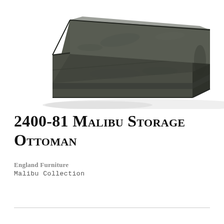[Figure (photo): A dark gray/charcoal upholstered storage ottoman with a box shape, photographed from a slightly elevated angle showing the top and two front sides. The ottoman has a hinged lid suggesting storage inside. The fabric appears to be a textured suede or microfiber in dark slate/olive-gray color.]
2400-81 Malibu Storage Ottoman
England Furniture
Malibu Collection